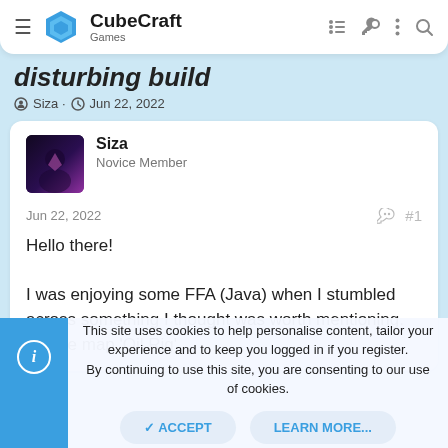CubeCraft Games
disturbing build
Siza · Jun 22, 2022
Siza
Novice Member
Jun 22, 2022  #1
Hello there!

I was enjoying some FFA (Java) when I stumbled across something I thought was worth mentioning. On the map 'Oil Rig'
This site uses cookies to help personalise content, tailor your experience and to keep you logged in if you register.
By continuing to use this site, you are consenting to our use of cookies.
ACCEPT   LEARN MORE...